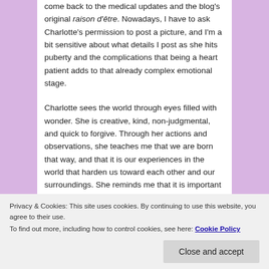come back to the medical updates and the blog's original raison d'être. Nowadays, I have to ask Charlotte's permission to post a picture, and I'm a bit sensitive about what details I post as she hits puberty and the complications that being a heart patient adds to that already complex emotional stage.

Charlotte sees the world through eyes filled with wonder. She is creative, kind, non-judgmental, and quick to forgive. Through her actions and observations, she teaches me that we are born that way, and that it is our experiences in the world that harden us toward each other and our surroundings. She reminds me that it is important to be childlike–full of wonder, kind words, forgiveness, creativity. Sometimes she is quite childish and it drives
Privacy & Cookies: This site uses cookies. By continuing to use this website, you agree to their use.
To find out more, including how to control cookies, see here: Cookie Policy